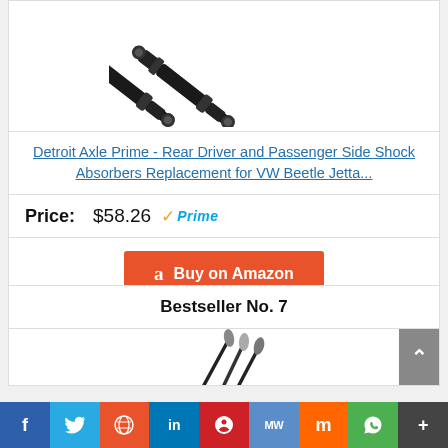[Figure (photo): Two black shock absorbers crossed diagonally on white background]
Detroit Axle Prime - Rear Driver and Passenger Side Shock Absorbers Replacement for VW Beetle Jetta...
Price: $58.26 Prime
Buy on Amazon
Bestseller No. 7
[Figure (photo): Partial image of makeup brushes/tools at bottom of card]
[Figure (other): Social sharing bar: Facebook, Twitter, Reddit, LinkedIn, Pinterest, MeWe, Mix, WhatsApp, More]